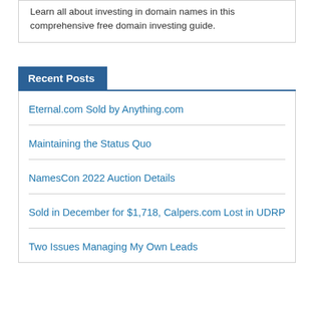Learn all about investing in domain names in this comprehensive free domain investing guide.
Recent Posts
Eternal.com Sold by Anything.com
Maintaining the Status Quo
NamesCon 2022 Auction Details
Sold in December for $1,718, Calpers.com Lost in UDRP
Two Issues Managing My Own Leads